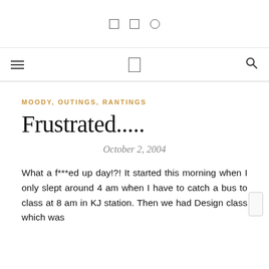[social icons: facebook, twitter, instagram]
[navigation bar: hamburger menu, logo icon, search icon]
MOODY, OUTINGS, RANTINGS
Frustrated.....
October 2, 2004
What a f***ed up day!?! It started this morning when I only slept around 4 am when I have to catch a bus to class at 8 am in KJ station. Then we had Design class which was